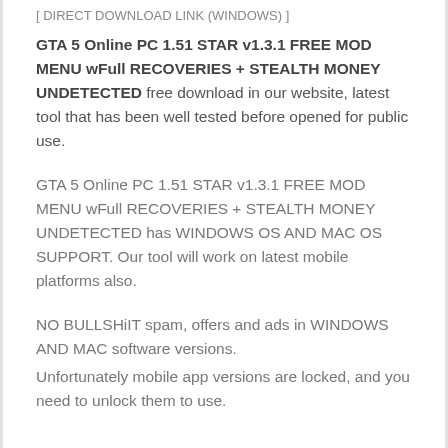[ DIRECT DOWNLOAD LINK (WINDOWS) ]
GTA 5 Online PC 1.51 STAR v1.3.1 FREE MOD MENU wFull RECOVERIES + STEALTH MONEY UNDETECTED free download in our website, latest tool that has been well tested before opened for public use.
GTA 5 Online PC 1.51 STAR v1.3.1 FREE MOD MENU wFull RECOVERIES + STEALTH MONEY UNDETECTED has WINDOWS OS AND MAC OS SUPPORT. Our tool will work on latest mobile platforms also.
NO BULLSHiIT spam, offers and ads in WINDOWS AND MAC software versions.
Unfortunately mobile app versions are locked, and you need to unlock them to use.